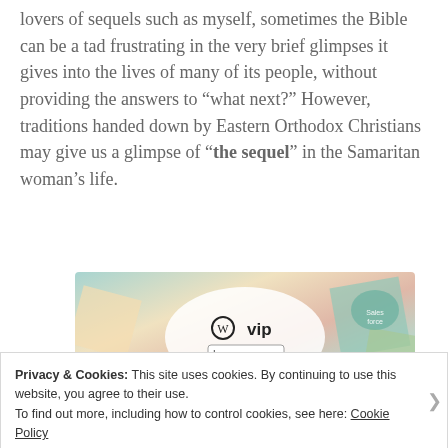lovers of sequels such as myself, sometimes the Bible can be a tad frustrating in the very brief glimpses it gives into the lives of many of its people, without providing the answers to “what next?” However, traditions handed down by Eastern Orthodox Christians may give us a glimpse of “the sequel” in the Samaritan woman’s life.
[Figure (other): WordPress VIP advertisement banner with colorful background showing Merck branding, featuring the WordPress VIP logo and a Learn more button.]
Privacy & Cookies: This site uses cookies. By continuing to use this website, you agree to their use.
To find out more, including how to control cookies, see here: Cookie Policy
Close and accept